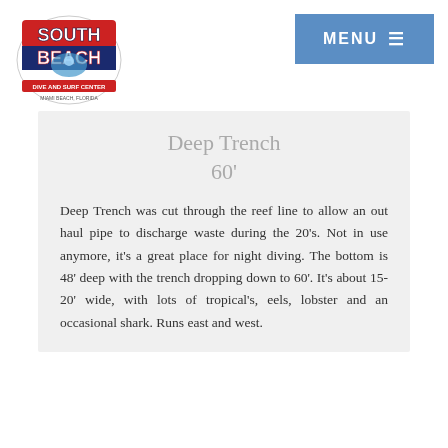[Figure (logo): South Beach Dive and Surf Center logo with stylized red and blue text and a diver graphic]
MENU ☰
Deep Trench
60'
Deep Trench was cut through the reef line to allow an out haul pipe to discharge waste during the 20's. Not in use anymore, it's a great place for night diving. The bottom is 48' deep with the trench dropping down to 60'. It's about 15-20' wide, with lots of tropical's, eels, lobster and an occasional shark. Runs east and west.